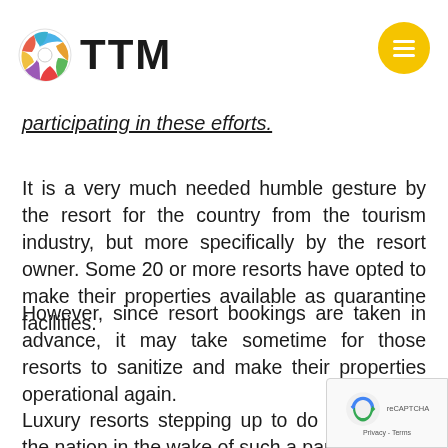TTM
participating in these efforts.
It is a very much needed humble gesture by the resort for the country from the tourism industry, but more specifically by the resort owner. Some 20 or more resorts have opted to make their properties available as quarantine facilities.
However, since resort bookings are taken in advance, it may take sometime for those resorts to sanitize and make their properties operational again.
Luxury resorts stepping up to do their bit for the nation in the wake of such a pandemic re... the industry's response for a higher calling... call to serve the nation in time of need. Tourism